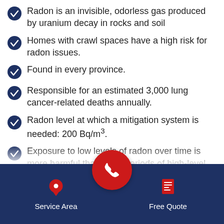Radon is an invisible, odorless gas produced by uranium decay in rocks and soil
Homes with crawl spaces have a high risk for radon issues.
Found in every province.
Responsible for an estimated 3,000 lung cancer-related deaths annually.
Radon level at which a mitigation system is needed: 200 Bq/m³.
Exposure to low levels of radon over time is more harmful than short periods of high-level exposure.
Radon can accumulate... [partially visible]
[Figure (infographic): Bottom navigation bar with dark navy background containing Service Area (location pin icon) on the left, a red phone circle button in the center, and Free Quote (document icon) on the right. All icons and labels are white/red.]